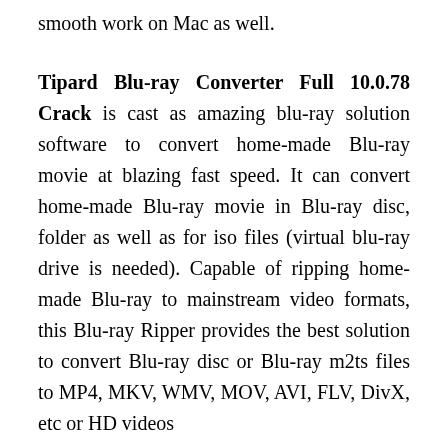smooth work on Mac as well.
Tipard Blu-ray Converter Full 10.0.78 Crack is cast as amazing blu-ray solution software to convert home-made Blu-ray movie at blazing fast speed. It can convert home-made Blu-ray movie in Blu-ray disc, folder as well as for iso files (virtual blu-ray drive is needed). Capable of ripping home-made Blu-ray to mainstream video formats, this Blu-ray Ripper provides the best solution to convert Blu-ray disc or Blu-ray m2ts files to MP4, MKV, WMV, MOV, AVI, FLV, DivX, etc or HD videos
Tipard Blu-ray Converter Crack Key